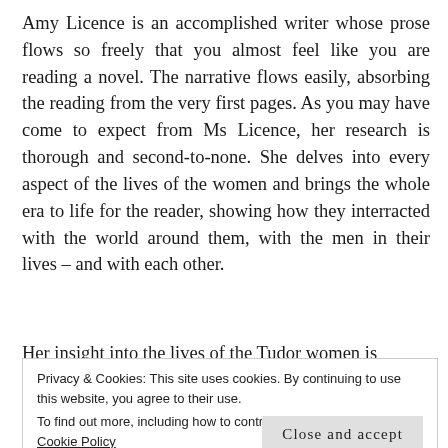Amy Licence is an accomplished writer whose prose flows so freely that you almost feel like you are reading a novel. The narrative flows easily, absorbing the reading from the very first pages. As you may have come to expect from Ms Licence, her research is thorough and second-to-none. She delves into every aspect of the lives of the women and brings the whole era to life for the reader, showing how they interracted with the world around them, with the men in their lives – and with each other.
Her insight into the lives of the Tudor women is
Privacy & Cookies: This site uses cookies. By continuing to use this website, you agree to their use.
To find out more, including how to control cookies, see here: Our Cookie Policy
Close and accept
Elizabeth I is no exception. In fact, it is probably one of